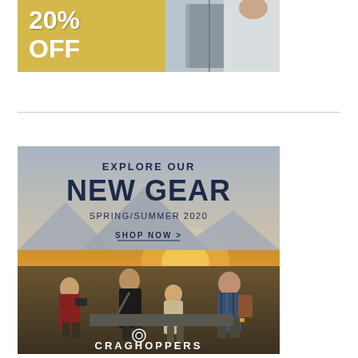[Figure (illustration): Advertisement banner showing '20% OFF' text on a yellow/gold background with a model wearing a white jacket on the right side]
[Figure (photo): Craghoppers brand advertisement showing outdoor adventure scene with people near a vehicle at sunset/golden hour. Text overlays read 'EXPLORE OUR NEW GEAR', 'SPRING/SUMMER 2020', 'SHOP NOW >' and Craghoppers logo at bottom.]